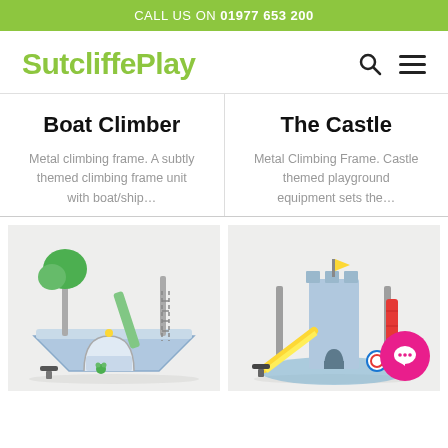CALL US ON 01977 653 200
SutcliffePlay
Boat Climber
The Castle
Metal climbing frame. A subtly themed climbing frame unit with boat/ship…
Metal Climbing Frame. Castle themed playground equipment sets the…
[Figure (illustration): Boat Climber playground equipment illustration showing a colourful climbing frame with boat/ship theme, tree, and tunnel elements on grey background]
[Figure (illustration): The Castle playground equipment illustration showing a castle themed climbing frame with slide, towers and colourful elements on grey background]